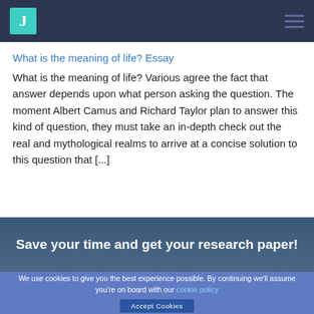J [logo] [hamburger menu]
What is the meaning of life? Essay
What is the meaning of life? Various agree the fact that answer depends upon what person asking the question. The moment Albert Camus and Richard Taylor plan to answer this kind of question, they must take an in-depth check out the real and mythological realms to arrive at a concise solution to this question that [...]
Save your time and get your research paper!
We use cookies to give you the best experience possible. By continuing we'll assume you're on board with our cookie policy
Accept Cookies